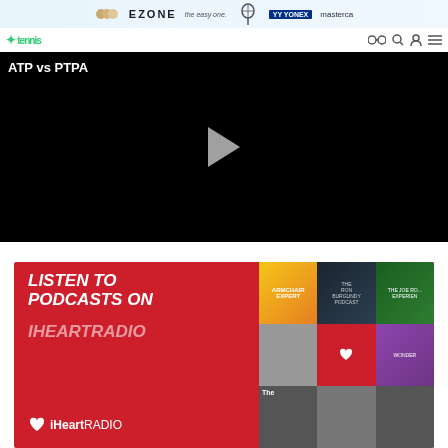EZONE the easy one. YONEX masterca
tennis
[Figure (screenshot): Video player with black background showing 'ATP vs PTPA' title and a play button in the center]
[Figure (screenshot): iHeartRadio advertisement banner on red background reading 'LISTEN TO PODCASTS ON IHEARTRADIO' with podcast thumbnails including Armchair Expert, Ron Burgundy Podcast, and The Joe Rogan Experience]